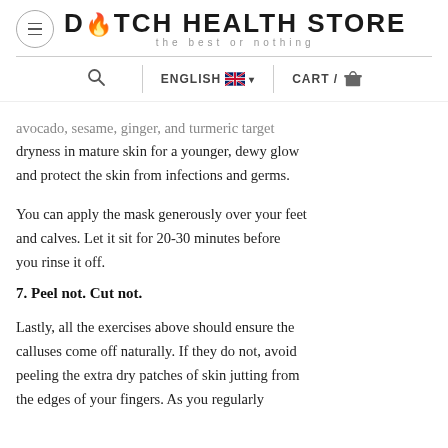DUTCH HEALTH STORE — the best or nothing
avocado, sesame, ginger, and turmeric target dryness in mature skin for a younger, dewy glow and protect the skin from infections and germs.
You can apply the mask generously over your feet and calves. Let it sit for 20-30 minutes before you rinse it off.
7. Peel not. Cut not.
Lastly, all the exercises above should ensure the calluses come off naturally. If they do not, avoid peeling the extra dry patches of skin jutting from the edges of your fingers. As you regularly